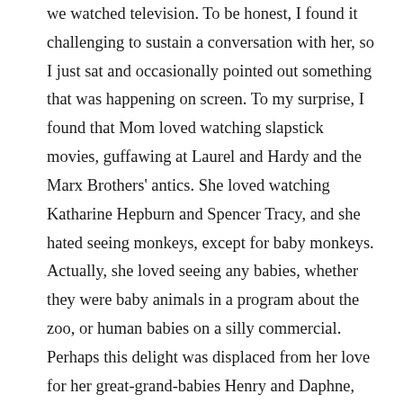we watched television. To be honest, I found it challenging to sustain a conversation with her, so I just sat and occasionally pointed out something that was happening on screen. To my surprise, I found that Mom loved watching slapstick movies, guffawing at Laurel and Hardy and the Marx Brothers' antics. She loved watching Katharine Hepburn and Spencer Tracy, and she hated seeing monkeys, except for baby monkeys. Actually, she loved seeing any babies, whether they were baby animals in a program about the zoo, or human babies on a silly commercial. Perhaps this delight was displaced from her love for her great-grand-babies Henry and Daphne, whom she always loved to see on the Grandpad.
The last day wasn't so easy, but it was just one day, and